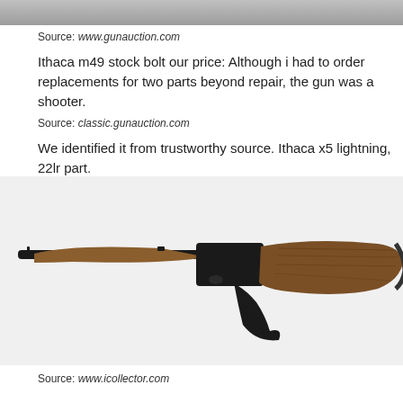[Figure (photo): Partial top image, cropped gray photo at top of page]
Source: www.gunauction.com
Ithaca m49 stock bolt our price: Although i had to order replacements for two parts beyond repair, the gun was a shooter.
Source: classic.gunauction.com
We identified it from trustworthy source. Ithaca x5 lightning, 22lr part.
[Figure (photo): Lever-action rifle with wooden stock and black metal receiver, shown in profile against white background]
Source: www.icollector.com